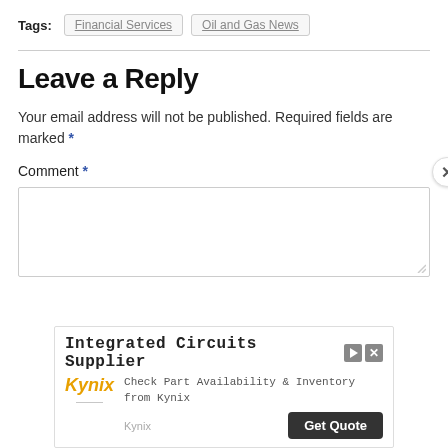Tags: Financial Services  Oil and Gas News
Leave a Reply
Your email address will not be published. Required fields are marked *
Comment *
[Figure (screenshot): An advertisement banner for Kynix - Integrated Circuits Supplier with Get Quote button]